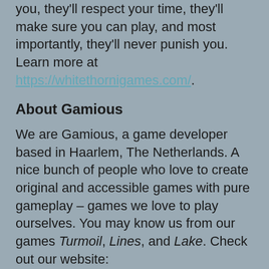you, they'll respect your time, they'll make sure you can play, and most importantly, they'll never punish you. Learn more at https://whitethornigames.com/.
About Gamious
We are Gamious, a game developer based in Haarlem, The Netherlands. A nice bunch of people who love to create original and accessible games with pure gameplay – games we love to play ourselves. You may know us from our games Turmoil, Lines, and Lake. Check out our website: https://www.gamious.com/.
About Perp Games
Perp Games is a global video games publisher, with a proud track record of publishing award-winning titles, exciting indie games, and some of the world's most recognized franchises, from the most talented studios. Perp Games is an established and recognized global force in entertainment, bringing extraordinary and exciting games to market, across multiplo formats and media.